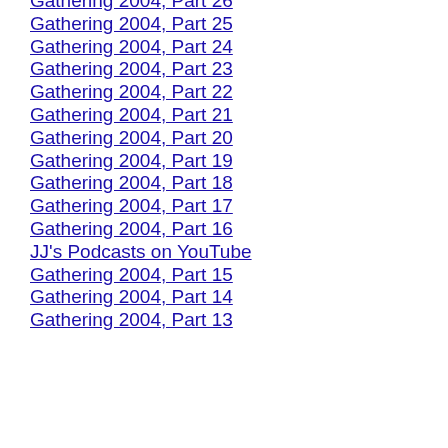Gathering 2004, Part 26
Gathering 2004, Part 25
Gathering 2004, Part 24
Gathering 2004, Part 23
Gathering 2004, Part 22
Gathering 2004, Part 21
Gathering 2004, Part 20
Gathering 2004, Part 19
Gathering 2004, Part 18
Gathering 2004, Part 17
Gathering 2004, Part 16
JJ's Podcasts on YouTube
Gathering 2004, Part 15
Gathering 2004, Part 14
Gathering 2004, Part 13